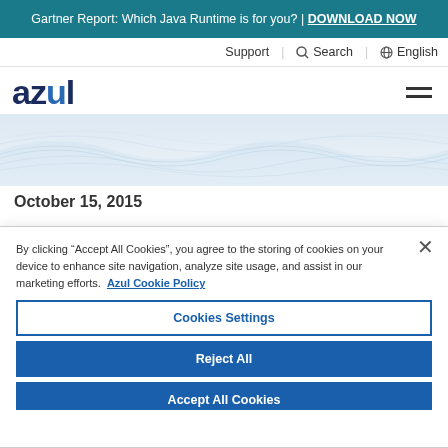Gartner Report: Which Java Runtime is for you? | DOWNLOAD NOW
Support | Search | English
[Figure (logo): Azul company logo — wordmark 'azul' in dark navy/blue bold font]
[Figure (illustration): Decorative wave pattern background in light blue-gray tones]
October 15, 2015
By clicking “Accept All Cookies”, you agree to the storing of cookies on your device to enhance site navigation, analyze site usage, and assist in our marketing efforts. Azul Cookie Policy
Cookies Settings
Reject All
Accept All Cookies